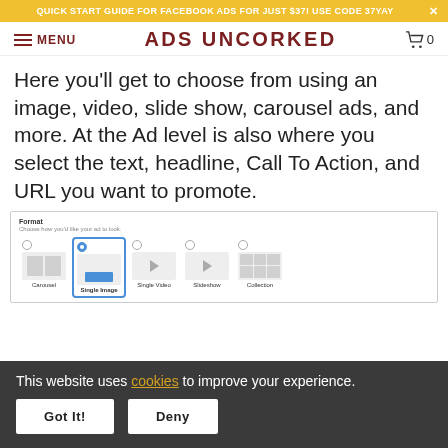QUICK START GUIDE FOR FACEBOOK ADS FOR JUST $37! USE CODE 37YAY
ADS UNCORKED
Here you'll get to choose from using an image, video, slide show, carousel ads, and more. At the Ad level is also where you select the text, headline, Call To Action, and URL you want to promote.
[Figure (screenshot): Facebook Ads Manager format selection screen showing options: Carousel, Single Image (selected, highlighted in blue), Single Video, Slideshow, Collection]
This website uses cookies to improve your experience.
Got It!
Deny